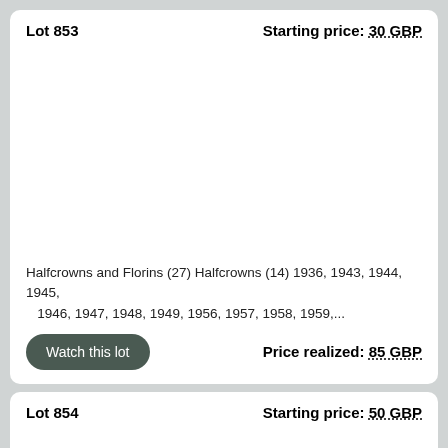Lot 853
Starting price: 30 GBP
Halfcrowns and Florins (27) Halfcrowns (14) 1936, 1943, 1944, 1945, 1946, 1947, 1948, 1949, 1956, 1957, 1958, 1959,...
Watch this lot
Price realized: 85 GBP
Lot 854
Starting price: 50 GBP